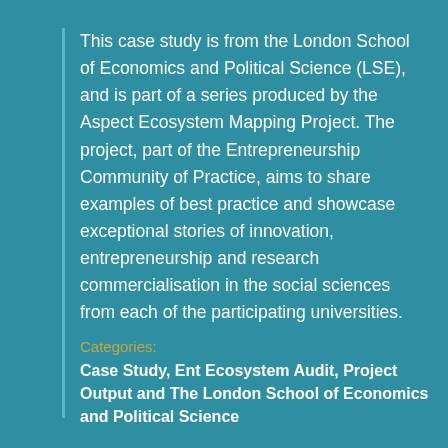This case study is from the London School of Economics and Political Science (LSE), and is part of a series produced by the Aspect Ecosystem Mapping Project. The project, part of the Entrepreneurship Community of Practice, aims to share examples of best practice and showcase exceptional stories of innovation, entrepreneurship and research commercialisation in the social sciences from each of the participating universities.
Categories:
Case Study, Ent Ecosystem Audit, Project Output and The London School of Economics and Political Science